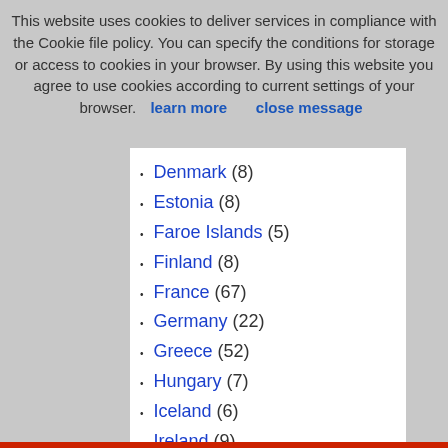This website uses cookies to deliver services in compliance with the Cookie file policy. You can specify the conditions for storage or access to cookies in your browser. By using this website you agree to use cookies according to current settings of your browser. learn more    close message
Denmark (8)
Estonia (8)
Faroe Islands (5)
Finland (8)
France (67)
Germany (22)
Greece (52)
Hungary (7)
Iceland (6)
Ireland (9)
Italy (26)
Latvia (8)
Liechtenstein (1)
Lithuania (8)
Luxembourg (2)